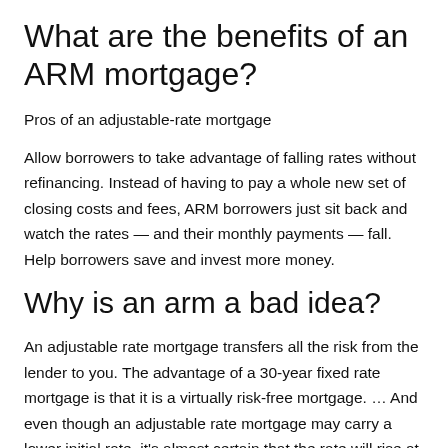What are the benefits of an ARM mortgage?
Pros of an adjustable-rate mortgage
Allow borrowers to take advantage of falling rates without refinancing. Instead of having to pay a whole new set of closing costs and fees, ARM borrowers just sit back and watch the rates — and their monthly payments — fall. Help borrowers save and invest more money.
Why is an arm a bad idea?
An adjustable rate mortgage transfers all the risk from the lender to you. The advantage of a 30-year fixed rate mortgage is that it is a virtually risk-free mortgage. … And even though an adjustable rate mortgage may carry a lower initial rate, it's almost certain that the rate will rise at some point in the future.